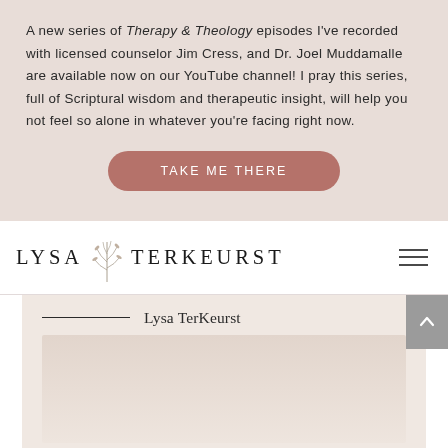A new series of Therapy & Theology episodes I've recorded with licensed counselor Jim Cress, and Dr. Joel Muddamalle are available now on our YouTube channel! I pray this series, full of Scriptural wisdom and therapeutic insight, will help you not feel so alone in whatever you're facing right now.
[Figure (other): Pink/mauve rounded button reading TAKE ME THERE]
[Figure (logo): Lysa TerKeurst logo with botanical leaf illustration and hamburger menu icon]
— Lysa TerKeurst
HEALING IS POSSIBLE... LISTEN TO NEW